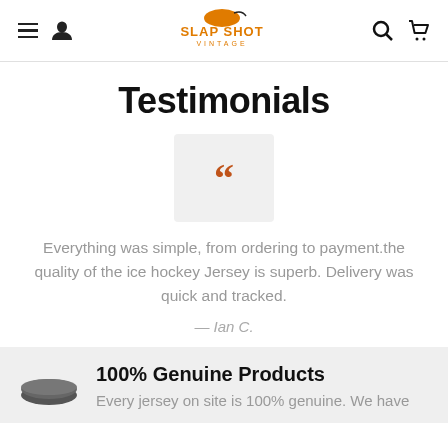Slap Shot Vintage — navigation header with menu, user, search, cart icons
Testimonials
[Figure (illustration): Orange double quotation mark on a light gray rounded square background]
Everything was simple, from ordering to payment.the quality of the ice hockey Jersey is superb. Delivery was quick and tracked.
— Ian C.
[Figure (illustration): Hockey puck icon — dark gray disk shape]
100% Genuine Products
Every jersey on site is 100% genuine. We have